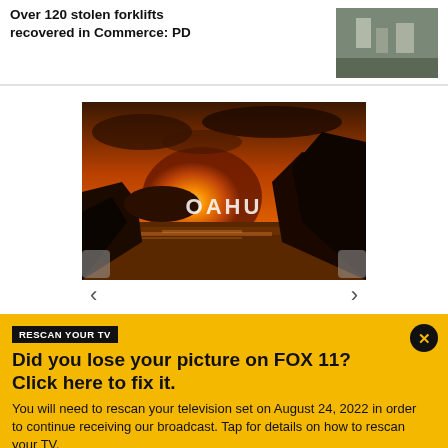Over 120 stolen forklifts recovered in Commerce: PD
[Figure (photo): Thumbnail photo of warehouse/forklifts interior scene]
[Figure (photo): Scenic sunset photo of Oahu coastline with rocky cliffs and ocean, text 'OAHU' overlaid in white]
RESCAN YOUR TV
Did you lose your picture on FOX 11? Click here to fix it.
You will need to rescan your television set on August 24, 2022 in order to continue receiving our broadcast. Tap for details on how to rescan your TV.